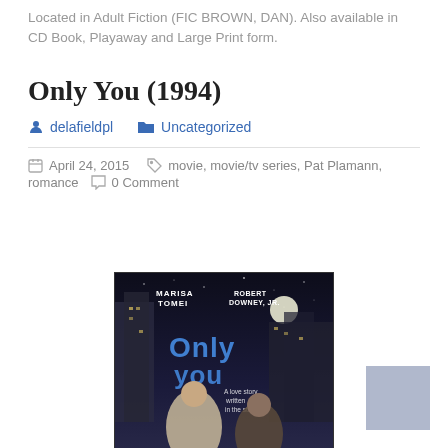Located in Adult Fiction (FIC BROWN, DAN). Also available in CD Book, Playaway and Large Print form.
Only You (1994)
delafieldpl   Uncategorized
April 24, 2015   movie, movie/tv series, Pat Plamann, romance   0 Comment
[Figure (photo): Movie cover for 'Only You' (1994) featuring Marisa Tomei and Robert Downey Jr. against a night sky with the moon, with the tagline 'A love story written in the stars.']